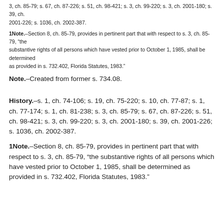3, ch. 85-79; s. 67, ch. 87-226; s. 51, ch. 98-421; s. 3, ch. 99-220; s. 3, ch. 2001-180; s. 39, ch. 2001-226; s. 1036, ch. 2002-387.
1Note.–Section 8, ch. 85-79, provides in pertinent part that with respect to s. 3, ch. 85-79, “the substantive rights of all persons which have vested prior to October 1, 1985, shall be determined as provided in s. 732.402, Florida Statutes, 1983.”
Note.–Created from former s. 734.08.
History.–s. 1, ch. 74-106; s. 19, ch. 75-220; s. 10, ch. 77-87; s. 1, ch. 77-174; s. 1, ch. 81-238; s. 3, ch. 85-79; s. 67, ch. 87-226; s. 51, ch. 98-421; s. 3, ch. 99-220; s. 3, ch. 2001-180; s. 39, ch. 2001-226; s. 1036, ch. 2002-387.
1Note.–Section 8, ch. 85-79, provides in pertinent part that with respect to s. 3, ch. 85-79, “the substantive rights of all persons which have vested prior to October 1, 1985, shall be determined as provided in s. 732.402, Florida Statutes, 1983.”